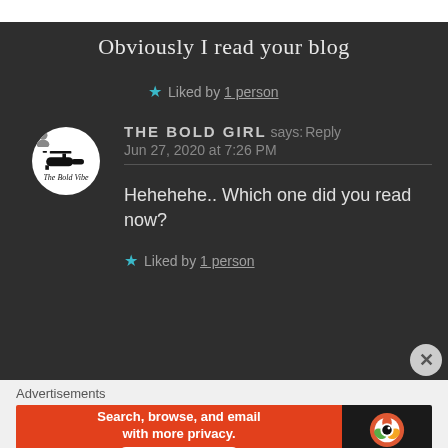Obviously I read your blog
★ Liked by 1 person
THE BOLD GIRL says: Reply
Jun 27, 2020 at 7:26 PM
Hehehehe.. Which one did you read now?
★ Liked by 1 person
Advertisements
[Figure (screenshot): DuckDuckGo ad banner: orange left side with text 'Search, browse, and email with more privacy. All in One Free App' and black right side with DuckDuckGo duck logo and brand name.]